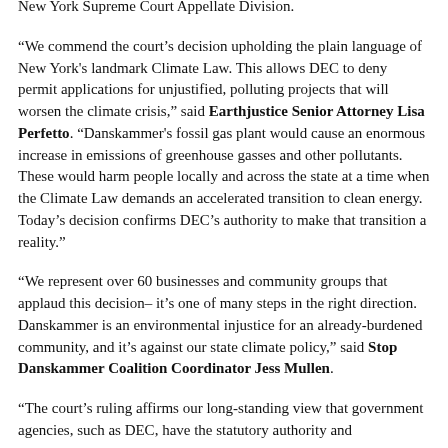New York Supreme Court Appellate Division.
“We commend the court’s decision upholding the plain language of New York's landmark Climate Law. This allows DEC to deny permit applications for unjustified, polluting projects that will worsen the climate crisis,” said Earthjustice Senior Attorney Lisa Perfetto. “Danskammer's fossil gas plant would cause an enormous increase in emissions of greenhouse gasses and other pollutants. These would harm people locally and across the state at a time when the Climate Law demands an accelerated transition to clean energy. Today’s decision confirms DEC’s authority to make that transition a reality.”
“We represent over 60 businesses and community groups that applaud this decision– it’s one of many steps in the right direction. Danskammer is an environmental injustice for an already-burdened community, and it’s against our state climate policy,” said Stop Danskammer Coalition Coordinator Jess Mullen.
“The court’s ruling affirms our long-standing view that government agencies, such as DEC, have the statutory authority and